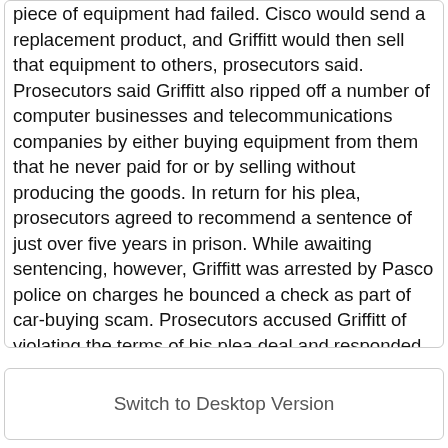piece of equipment had failed. Cisco would send a replacement product, and Griffitt would then sell that equipment to others, prosecutors said. Prosecutors said Griffitt also ripped off a number of computer businesses and telecommunications companies by either buying equipment from them that he never paid for or by selling without producing the goods. In return for his plea, prosecutors agreed to recommend a sentence of just over five years in prison. While awaiting sentencing, however, Griffitt was arrested by Pasco police on charges he bounced a check as part of car-buying scam. Prosecutors accused Griffitt of violating the terms of his plea deal and responded by upping his recommended sentence to 6 1/2 years in prison - a recommendation not opposed by Griffitt's counsel. Defense attorney Adam Moore said his client's behavior was a result of a long addition to prescription painkillers. Three co-defendants, including Griffitt's wife, Melinda, pleaded guilty to reduced charges and were placed on probation. Source: http://www.mercurynews.com/mld/mercurynews/news/local/states/c
Switch to Desktop Version